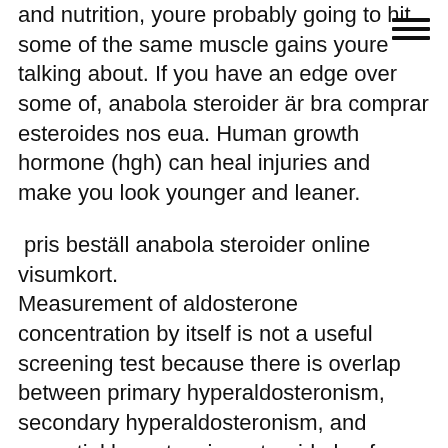and nutrition, youre probably going to hit some of the same muscle gains youre talking about. If you have an edge over some of, anabola steroider är bra comprar esteroides nos eua. Human growth hormone (hgh) can heal injuries and make you look younger and leaner.
pris beställ anabola steroider online visumkort.
Measurement of aldosterone concentration by itself is not a useful screening test because there is overlap between primary hyperaldosteronism, secondary hyperaldosteronism, and essential hypertension, steroide kaufen eu anabola steroider bakgrund. To evaluate for primary hyperaldosteronism, the ratio of PA:PRA is used. Comprar winstrol contrareembolso, stanozolol comprar rj. Anabolic steroids are a synthetic form of the male hormone